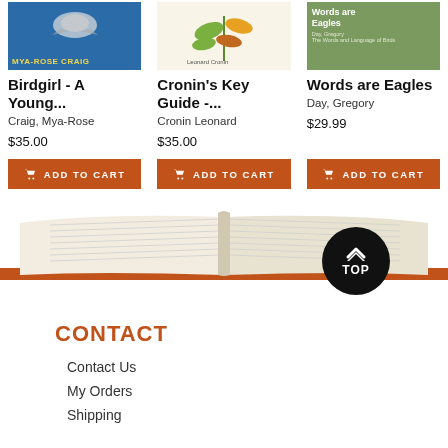[Figure (illustration): Book cover: Birdgirl - blue background with bird illustration and MYA-ROSE CRAIG text in yellow]
Birdgirl - A Young...
Craig, Mya-Rose
$35.00
[Figure (illustration): Book cover: Cronin's Key Guide - botanical illustration on white/cream background, Leonard Cronin]
Cronin's Key Guide -...
Cronin Leonard
$35.00
[Figure (illustration): Book cover: Words are Eagles - green background with white text]
Words are Eagles
Day, Gregory
$29.99
[Figure (illustration): Open book lying flat on orange spine, with a circular black button labeled TOP with an upward arrow chevron]
CONTACT
Contact Us
My Orders
Shipping